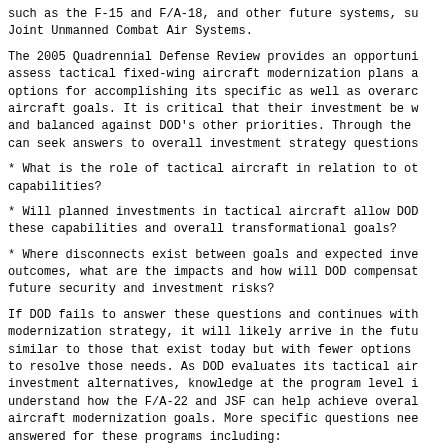such as the F-15 and F/A-18, and other future systems, su Joint Unmanned Combat Air Systems.
The 2005 Quadrennial Defense Review provides an opportuni assess tactical fixed-wing aircraft modernization plans a options for accomplishing its specific as well as overarc aircraft goals. It is critical that their investment be w and balanced against DOD's other priorities. Through the can seek answers to overall investment strategy questions
* What is the role of tactical aircraft in relation to ot capabilities?
* Will planned investments in tactical aircraft allow DOD these capabilities and overall transformational goals?
* Where disconnects exist between goals and expected inve outcomes, what are the impacts and how will DOD compensat future security and investment risks?
If DOD fails to answer these questions and continues with modernization strategy, it will likely arrive in the futu similar to those that exist today but with fewer options to resolve those needs. As DOD evaluates its tactical air investment alternatives, knowledge at the program level i understand how the F/A-22 and JSF can help achieve overal aircraft modernization goals. More specific questions nee answered for these programs including:
* Is the F/A-22 the most cost-effective alternative to fi